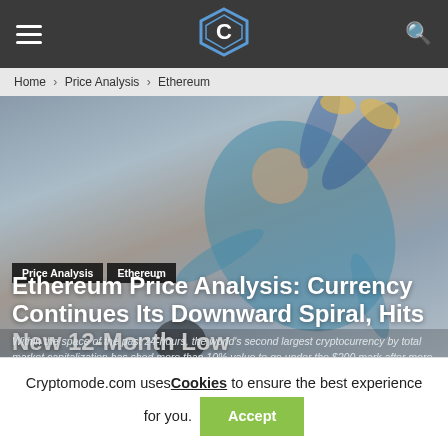CryptoMode logo header with hamburger menu and search icon
Home › Price Analysis › Ethereum
[Figure (photo): Person falling/tumbling in the air wearing teal shirt and jeans against grey background, used as hero image for article]
Price Analysis   Ethereum
Ethereum Price Analysis: Currency Continues Its Downward Spiral, Hits New 12-Month Low
Within the space of the past 24-hours, the world's second largest cryptocurrency by total market capitalization has shed more than 10% value to go under the $200 mark after more than a year.
Cryptomode.com uses Cookies to ensure the best experience for you. Accept